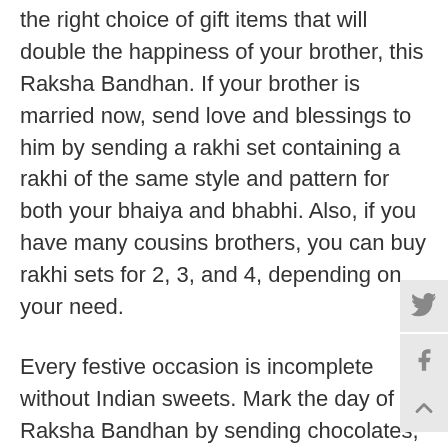the right choice of gift items that will double the happiness of your brother, this Raksha Bandhan. If your brother is married now, send love and blessings to him by sending a rakhi set containing a rakhi of the same style and pattern for both your bhaiya and bhabhi. Also, if you have many cousins brothers, you can buy rakhi sets for 2, 3, and 4, depending on your need.
Every festive occasion is incomplete without Indian sweets. Mark the day of Raksha Bandhan by sending chocolates, sweets, and cakes for your brother, who must be missing all of these in UAE. You can find a w range of chocolates at Talash.com like Ferrero roche dairy milk, perk, temptation, Bournville, etc. Similarly, can buy Indian sweets of all kinds like Kaju katli, besa